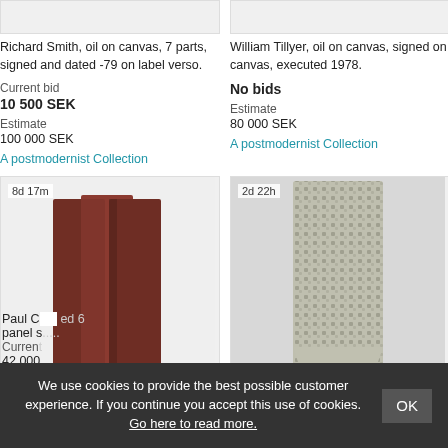[Figure (photo): Top portion of artwork image (cropped) - left column]
Richard Smith, oil on canvas, 7 parts, signed and dated -79 on label verso.
Current bid
10 500 SEK
Estimate
100 000 SEK
A postmodernist Collection
[Figure (photo): Top portion of artwork image (cropped) - right column]
William Tillyer, oil on canvas, signed on canvas, executed 1978.
No bids
Estimate
80 000 SEK
A postmodernist Collection
[Figure (photo): Paul O... artwork with 6 brown panels, 8d 17m timer - left column]
[Figure (photo): Decorative rug/textile item, 2d 22h timer - right column]
Paul C... panel s...
Current
42 000...
We use cookies to provide the best possible customer experience. If you continue you accept this use of cookies. Go here to read more.